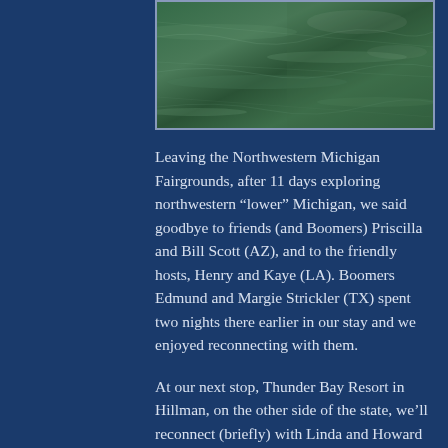[Figure (photo): Aerial or water-level photo of a body of water with a dark teal/green color and light rippling on the surface.]
Leaving the Northwestern Michigan Fairgrounds, after 11 days exploring northwestern “lower” Michigan, we said goodbye to friends (and Boomers) Priscilla and Bill Scott (AZ), and to the friendly hosts, Henry and Kaye (LA). Boomers Edmund and Margie Strickler (TX) spent two nights there earlier in our stay and we enjoyed reconnecting with them.
At our next stop, Thunder Bay Resort in Hillman, on the other side of the state, we’ll reconnect (briefly) with Linda and Howard (RV-Dreams.com), a couple we first met in Quartzsite,